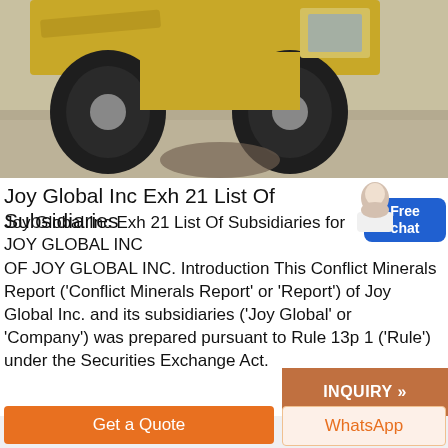[Figure (photo): Construction vehicle (loader/grader) with large black tires photographed from below on a concrete surface with a dark puddle on the ground]
Joy Global Inc Exh 21 List Of Subsidiaries
Joy Global Inc Exh 21 List Of Subsidiaries for JOY GLOBAL INC
OF JOY GLOBAL INC. Introduction This Conflict Minerals Report ('Conflict Minerals Report' or 'Report') of Joy Global Inc. and its subsidiaries ('Joy Global' or 'Company') was prepared pursuant to Rule 13p 1 ('Rule') under the Securities Exchange Act.